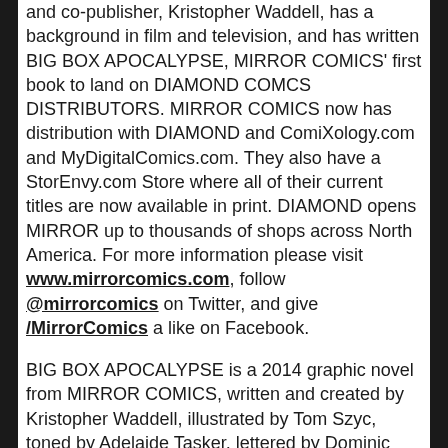and co-publisher, Kristopher Waddell, has a background in film and television, and has written BIG BOX APOCALYPSE, MIRROR COMICS' first book to land on DIAMOND COMCS DISTRIBUTORS. MIRROR COMICS now has distribution with DIAMOND and ComiXology.com and MyDigitalComics.com. They also have a StorEnvy.com Store where all of their current titles are now available in print. DIAMOND opens MIRROR up to thousands of shops across North America. For more information please visit www.mirrorcomics.com, follow @mirrorcomics on Twitter, and give /MirrorComics a like on Facebook.
BIG BOX APOCALYPSE is a 2014 graphic novel from MIRROR COMICS, written and created by Kristopher Waddell, illustrated by Tom Szyc, toned by Adelaide Tasker, lettered by Dominic Bercier, and features local Ottawa cosplay beauty Naomi VonKreeps as the devilish Mona. The cover is illustrated by Shuster Award nominated writer-artist Stephen Burger, with logo design by Craig Norman.
MIRROR COMICS is an indie comic book publisher from